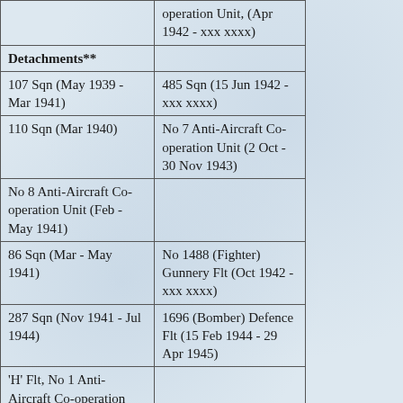| Detachments** |  |
| --- | --- |
|  | operation Unit, (Apr 1942 - xxx xxxx) |
| Detachments** |  |
| 107 Sqn (May 1939 - Mar 1941) | 485 Sqn (15 Jun 1942 - xxx xxxx) |
| 110 Sqn (Mar 1940) | No 7 Anti-Aircraft Co-operation Unit (2 Oct - 30 Nov 1943) |
| No 8 Anti-Aircraft Co-operation Unit (Feb - May 1941) |  |
| 86 Sqn (Mar - May 1941) | No 1488 (Fighter) Gunnery Flt (Oct 1942 - xxx xxxx) |
| 287 Sqn (Nov 1941 - Jul 1944) | 1696 (Bomber) Defence Flt (15 Feb 1944 - 29 Apr 1945) |
| 'H' Flt, No 1 Anti-Aircraft Co-operation Unit, (Jan 1942 - xxx xxxx) |  |